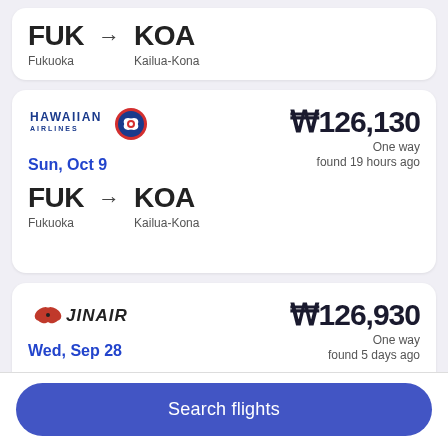FUK → KOA
Fukuoka   Kailua-Kona
[Figure (logo): Hawaiian Airlines logo with text and bird icon]
₩126,130
One way
found 19 hours ago
Sun, Oct 9
FUK → KOA
Fukuoka   Kailua-Kona
[Figure (logo): Jin Air logo with butterfly icon and stylized text]
₩126,930
One way
found 5 days ago
Wed, Sep 28
FUK → KOA
Fukuoka   Kailua-Kona
Search flights